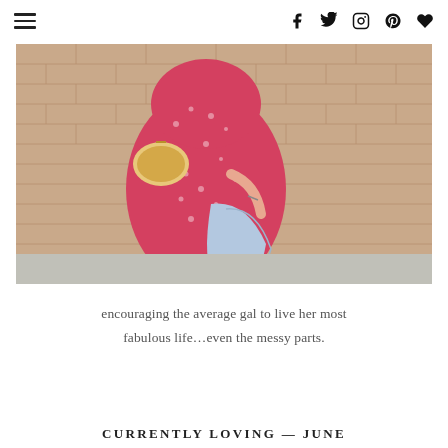[Navigation bar with hamburger menu and social icons: Facebook, Twitter, Instagram, Pinterest, Heart]
[Figure (photo): A woman wearing a red floral dress and holding a light blue denim jacket, standing against a beige brick wall. A woven bag is visible on her arm.]
encouraging the average gal to live her most fabulous life…even the messy parts.
CURRENTLY LOVING — JUNE